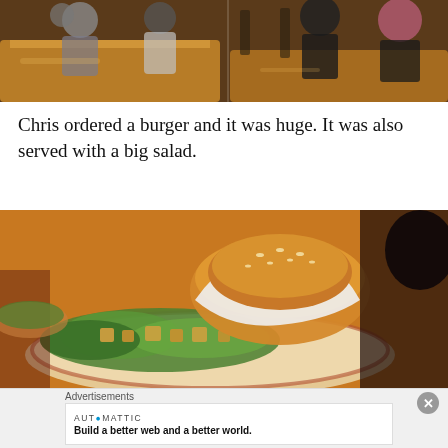[Figure (photo): Restaurant interior scene with people sitting at wooden tables, warm ambient lighting, chairs visible in background.]
Chris ordered a burger and it was huge. It was also served with a big salad.
[Figure (photo): Close-up of a burger wrapped in white paper served on a plate with a large green salad with croutons, warm orange-toned lighting.]
Advertisements
AUTOMATTIC — Build a better web and a better world.